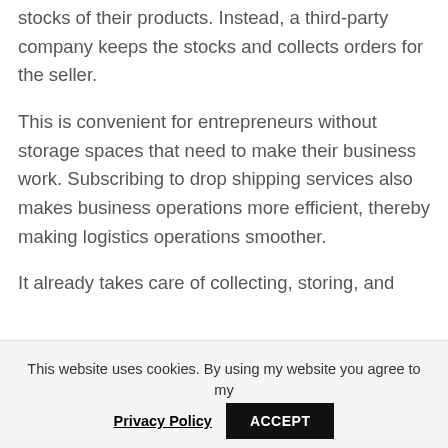stocks of their products. Instead, a third-party company keeps the stocks and collects orders for the seller.
This is convenient for entrepreneurs without storage spaces that need to make their business work. Subscribing to drop shipping services also makes business operations more efficient, thereby making logistics operations smoother.
It already takes care of collecting, storing, and
This website uses cookies. By using my website you agree to my
Privacy Policy  ACCEPT